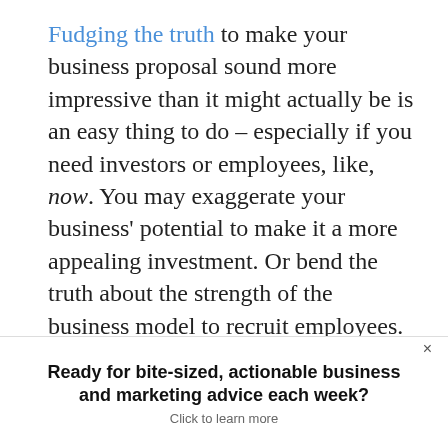Fudging the truth to make your business proposal sound more impressive than it might actually be is an easy thing to do – especially if you need investors or employees, like, now. You may exaggerate your business' potential to make it a more appealing investment. Or bend the truth about the strength of the business model to recruit employees.
To avoid all the lies (even the white lies)
Ready for bite-sized, actionable business and marketing advice each week? Click to learn more